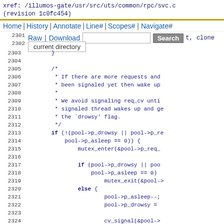xref: /illumos-gate/usr/src/uts/common/rpc/svc.c
(revision 1c0fc454)
Home | History | Annotate | Line# | Scopes# | Navigate#
Raw | Download  [Search]  t, clone
2301 current directory
Code lines 2301-2325 of svc.c showing C source code with RPC pool management logic